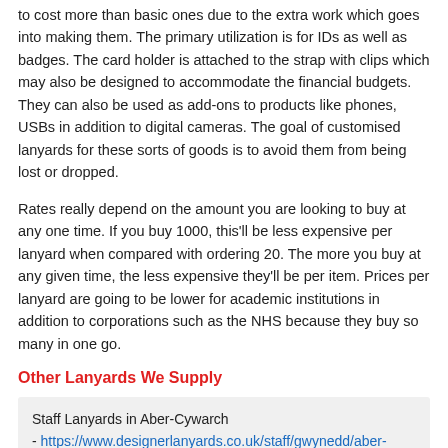to cost more than basic ones due to the extra work which goes into making them. The primary utilization is for IDs as well as badges. The card holder is attached to the strap with clips which may also be designed to accommodate the financial budgets. They can also be used as add-ons to products like phones, USBs in addition to digital cameras. The goal of customised lanyards for these sorts of goods is to avoid them from being lost or dropped.
Rates really depend on the amount you are looking to buy at any one time. If you buy 1000, this'll be less expensive per lanyard when compared with ordering 20. The more you buy at any given time, the less expensive they'll be per item. Prices per lanyard are going to be lower for academic institutions in addition to corporations such as the NHS because they buy so many in one go.
Other Lanyards We Supply
Staff Lanyards in Aber-Cywarch - https://www.designerlanyards.co.uk/staff/gwynedd/aber-cywarch/